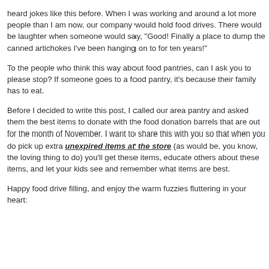heard jokes like this before. When I was working and around a lot more people than I am now, our company would hold food drives. There would be laughter when someone would say, "Good! Finally a place to dump the canned artichokes I've been hanging on to for ten years!"
To the people who think this way about food pantries, can I ask you to please stop? If someone goes to a food pantry, it's because their family has to eat.
Before I decided to write this post, I called our area pantry and asked them the best items to donate with the food donation barrels that are out for the month of November. I want to share this with you so that when you do pick up extra unexpired items at the store (as would be, you know, the loving thing to do) you'll get these items, educate others about these items, and let your kids see and remember what items are best.
Happy food drive filling, and enjoy the warm fuzzies fluttering in your heart: